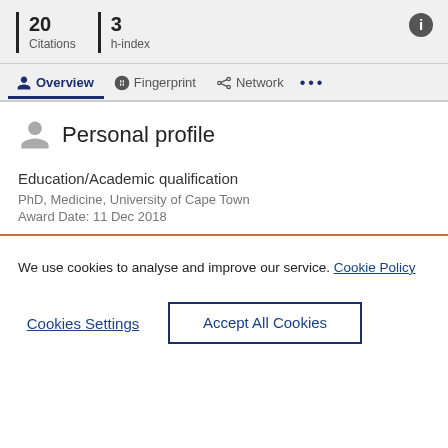20 Citations
3 h-index
Overview | Fingerprint | Network | ...
Personal profile
Education/Academic qualification
PhD, Medicine, University of Cape Town
Award Date: 11 Dec 2018
We use cookies to analyse and improve our service. Cookie Policy
Cookies Settings
Accept All Cookies